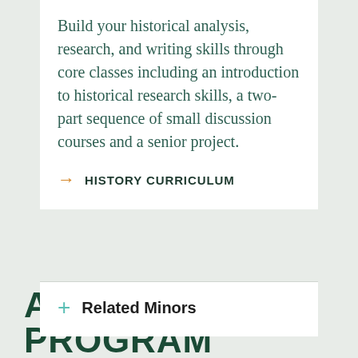Build your historical analysis, research, and writing skills through core classes including an introduction to historical research skills, a two-part sequence of small discussion courses and a senior project.
→ HISTORY CURRICULUM
+ Related Minors
ABOUT THE PROGRAM